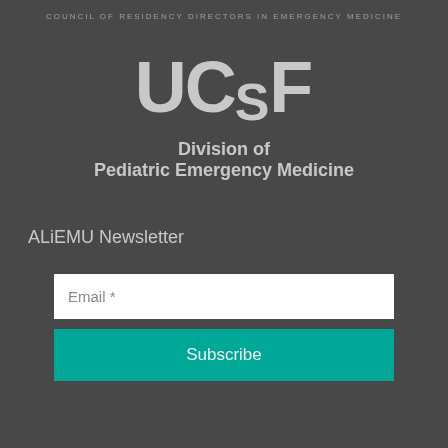COUNCIL OF RESIDENCY DIRECTORS IN EMERGENCY MEDICINE
[Figure (logo): UCSF logo with large bold letters UC and smaller S, then F]
Division of Pediatric Emergency Medicine
ALiEMU Newsletter
Email *
Subscribe